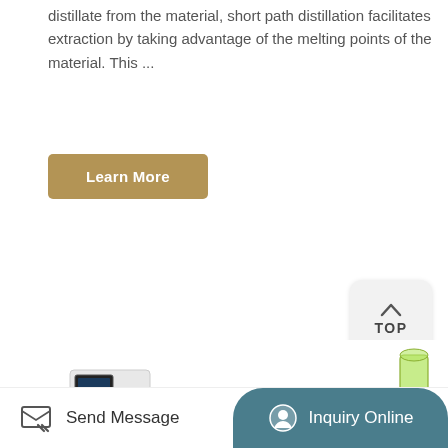distillate from the material, short path distillation facilitates extraction by taking advantage of the melting points of the material. This ...
Learn More
[Figure (photo): Laboratory short path distillation setup showing various glass components, a cooling unit (chiller), round-bottom flasks, condensers, a separatory funnel with yellow liquid, vacuum pump, and water circulator on a white background.]
TOP
Send Message
Inquiry Online